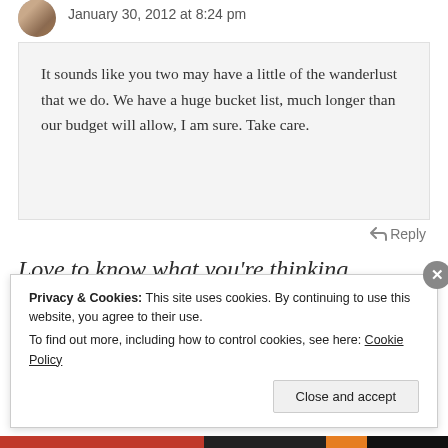January 30, 2012 at 8:24 pm
It sounds like you two may have a little of the wanderlust that we do. We have a huge bucket list, much longer than our budget will allow, I am sure. Take care.
↩ Reply
Love to know what you're thinking.
Privacy & Cookies: This site uses cookies. By continuing to use this website, you agree to their use. To find out more, including how to control cookies, see here: Cookie Policy
Close and accept